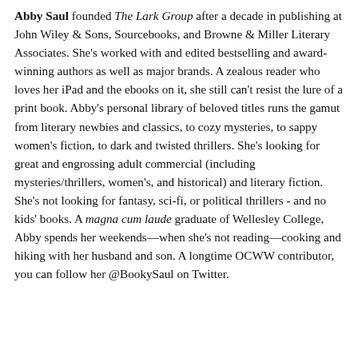Abby Saul founded The Lark Group after a decade in publishing at John Wiley & Sons, Sourcebooks, and Browne & Miller Literary Associates. She's worked with and edited bestselling and award-winning authors as well as major brands. A zealous reader who loves her iPad and the ebooks on it, she still can't resist the lure of a print book. Abby's personal library of beloved titles runs the gamut from literary newbies and classics, to cozy mysteries, to sappy women's fiction, to dark and twisted thrillers. She's looking for great and engrossing adult commercial (including mysteries/thrillers, women's, and historical) and literary fiction. She's not looking for fantasy, sci-fi, or political thrillers - and no kids' books. A magna cum laude graduate of Wellesley College, Abby spends her weekends—when she's not reading—cooking and hiking with her husband and son. A longtime OCWW contributor, you can follow her @BookySaul on Twitter.